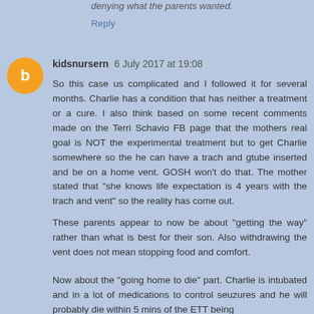denying what the parents wanted.
Reply
kidsnursern 6 July 2017 at 19:08
So this case us complicated and I followed it for several months. Charlie has a condition that has neither a treatment or a cure. I also think based on some recent comments made on the Terri Schavio FB page that the mothers real goal is NOT the experimental treatment but to get Charlie somewhere so the he can have a trach and gtube inserted and be on a home vent. GOSH won't do that. The mother stated that "she knows life expectation is 4 years with the trach and vent" so the reality has come out.
These parents appear to now be about "getting the way" rather than what is best for their son. Also withdrawing the vent does not mean stopping food and comfort.
Now about the "going home to die" part. Charlie is intubated and in a lot of medications to control seuzures and he will probably die within 5 mins of the ETT being